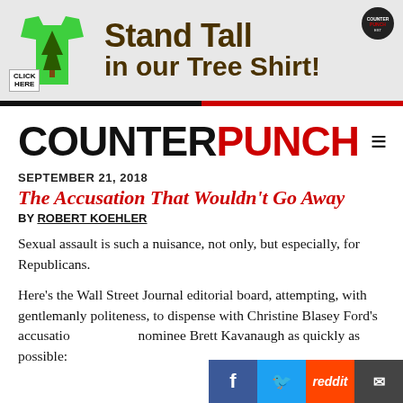[Figure (infographic): Advertisement banner for CounterPunch Tree Shirt. Green t-shirt with tree graphic on left, 'Stand Tall in our Tree Shirt!' text in dark brown on grey background. Click Here button and CounterPunch badge visible.]
COUNTERPUNCH
SEPTEMBER 21, 2018
The Accusation That Wouldn't Go Away
BY ROBERT KOEHLER
Sexual assault is such a nuisance, not only, but especially, for Republicans.
Here's the Wall Street Journal editorial board, attempting, with gentlemanly politeness, to dispense with Christine Blasey Ford's accusation against Supreme Court nominee Brett Kavanaugh as quickly as possible: